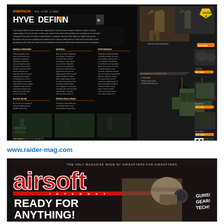[Figure (photo): Spread of a military/airsoft magazine page featuring the 'HYVE DEFINITION' article by Emerson, showing tactical gear including camouflage clothing, vest/chest rig with MOLLE pouches, knee pads, helmet, and action photos in jungle/forest settings. Dark/black background with white and orange text columns.]
www.raider-mag.com
[Figure (photo): Cover of Airsoft International magazine. Large red stylized 'Airsoft' logo text with white outline, tagline 'THE ONLY MAGAZINE MADE BY AIRSOFTERS FOR AIRSOFTERS', subtitle 'INTERNATIONAL', cover model wearing tan/camo cap and headset, headline text 'READY FOR ANYTHING!' in large white bold font, and 'GUNS! GEAR! TECH!' text on right side.]